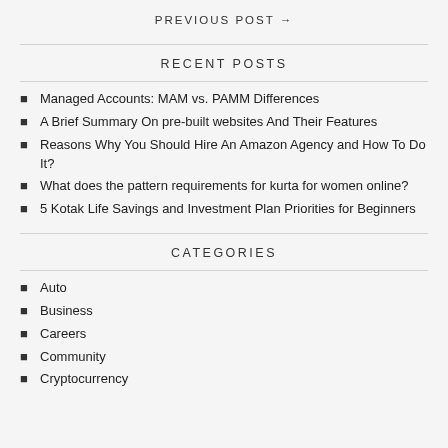PREVIOUS POST →
RECENT POSTS
Managed Accounts: MAM vs. PAMM Differences
A Brief Summary On pre-built websites And Their Features
Reasons Why You Should Hire An Amazon Agency and How To Do It?
What does the pattern requirements for kurta for women online?
5 Kotak Life Savings and Investment Plan Priorities for Beginners
CATEGORIES
Auto
Business
Careers
Community
Cryptocurrency